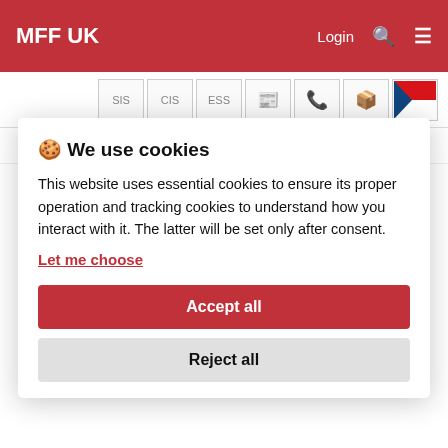MFF UK
SIS CIS ESS [icons]
Coronavirus Admission Forms Departments CUNI
🍪 We use cookies
This website uses essential cookies to ensure its proper operation and tracking cookies to understand how you interact with it. The latter will be set only after consent.
Let me choose
Accept all
Reject all